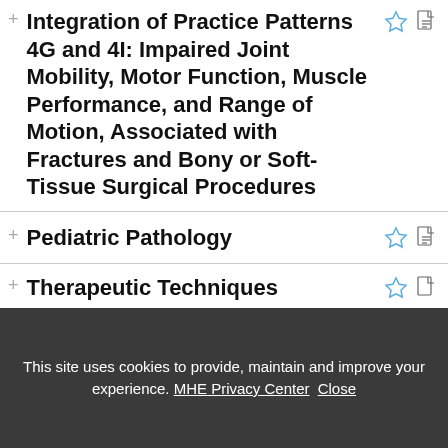Integration of Practice Patterns 4G and 4I: Impaired Joint Mobility, Motor Function, Muscle Performance, and Range of Motion, Associated with Fractures and Bony or Soft-Tissue Surgical Procedures
Pediatric Pathology
Therapeutic Techniques
This site uses cookies to provide, maintain and improve your experience. MHE Privacy Center Close